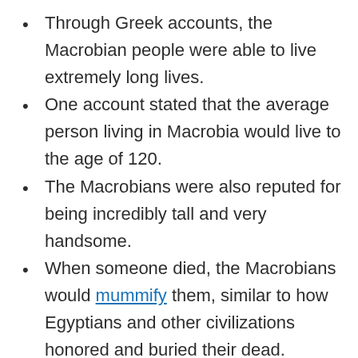Through Greek accounts, the Macrobian people were able to live extremely long lives.
One account stated that the average person living in Macrobia would live to the age of 120.
The Macrobians were also reputed for being incredibly tall and very handsome.
When someone died, the Macrobians would mummify them, similar to how Egyptians and other civilizations honored and buried their dead.
They used embalming, which is the